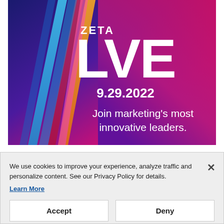[Figure (illustration): Zeta Live event banner with dark blue to magenta gradient background, diagonal colored stripes (orange, pink/red, blue), large white text 'ZETA LIVE 9.29.2022', and tagline 'Join marketing's most innovative leaders.']
We use cookies to improve your experience, analyze traffic and personalize content. See our Privacy Policy for details.
Learn More
Accept
Deny